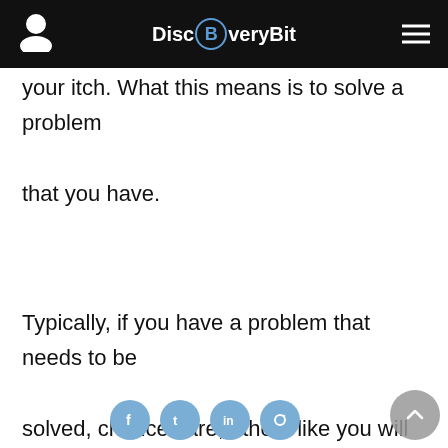DiscBveryBit
your itch. What this means is to solve a problem that you have.
Typically, if you have a problem that needs to be solved, chances are, others like you will have the same problem. Of course, this is not always the